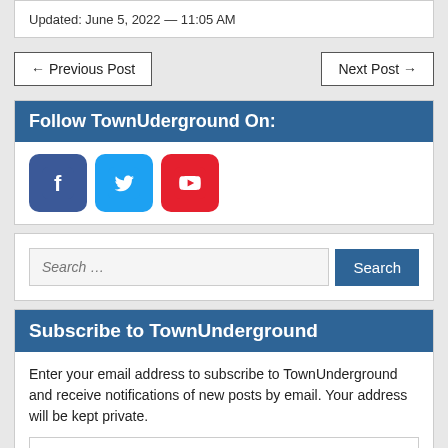Updated: June 5, 2022 — 11:05 AM
← Previous Post
Next Post →
Follow TownUderground On:
[Figure (infographic): Social media icons: Facebook (blue), Twitter (light blue), YouTube (red)]
Search …
Subscribe to TownUnderground
Enter your email address to subscribe to TownUnderground and receive notifications of new posts by email. Your address will be kept private.
Email Address
Subscribe